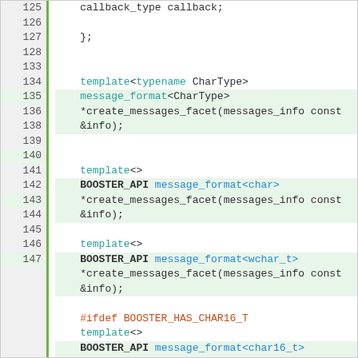[Figure (screenshot): Source code listing showing C++ template specializations for message_format facet creation functions, with line numbers 125-154 visible. Code uses color syntax highlighting with teal for keywords, blue for function names, orange for preprocessor directives, and black bold for BOOSTER_API macro.]